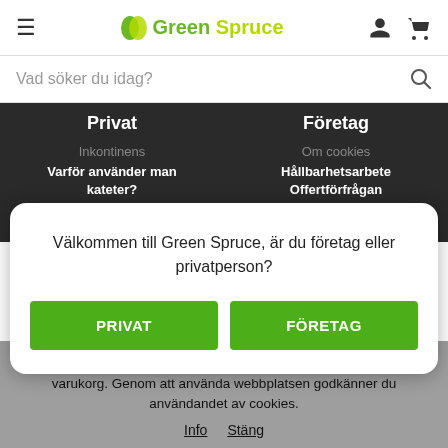Green Spruce — navigation header with hamburger menu, logo, user and cart icons
Vad söker du idag?
Privat   Företag
Välkommen till Green Spruce, är du företag eller privatperson?
PRIVAT   FÖRETAG
Inkontinens   Om cookies
Varför använder man kateter?
Hållbarhetsarbete
Tvättmedel och Skölimedel
Offertförfrågan
Tjäna pengar med Green Spruce
Denna webbplats använder cookies för dina inställningar och din varukorg. Genom att använda webbplatsen godkänner du användandet av cookies.
Info   Stäng